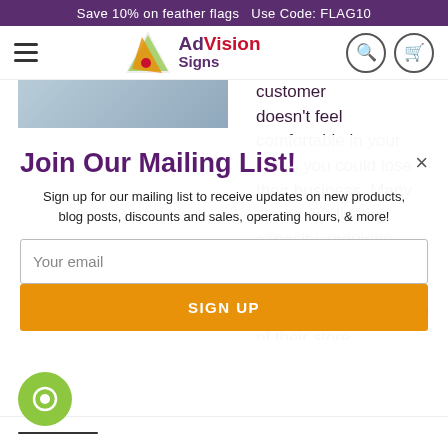Save 10% on feather flags   Use Code: FLAG10
[Figure (logo): AdVision Signs logo with stylized A icon in orange/purple and text 'AdVision Signs']
customer doesn't feel comfortable in your store, you could lose their business. Many stores are limiting capacity, requiring masks, offering special at-risk shopping hours, and controlling the flow of their store.
Join Our Mailing List!
Sign up for our mailing list to receive updates on new products, blog posts, discounts and sales, operating hours, & more!
Your email
SIGN UP